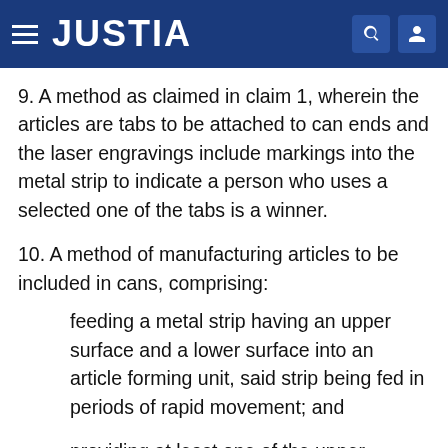JUSTIA
9. A method as claimed in claim 1, wherein the articles are tabs to be attached to can ends and the laser engravings include markings into the metal strip to indicate a person who uses a selected one of the tabs is a winner.
10. A method of manufacturing articles to be included in cans, comprising:
feeding a metal strip having an upper surface and a lower surface into an article forming unit, said strip being fed in periods of rapid movement; and
providing at least one of the upper surface and the lower surface of the strip with laser engravings from a laser unit when the strip is in between the periods of rapid movement and before the strip is fed into the article forming unit, thereby the article forming unit forms a plurality of articles from the strip.